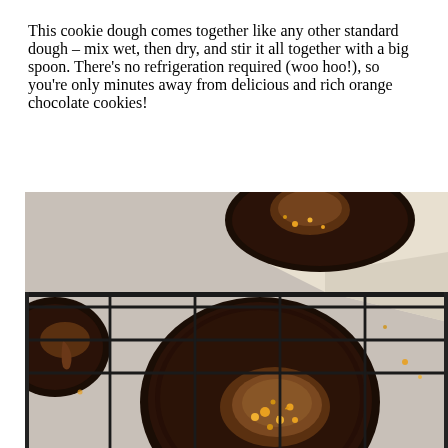This cookie dough comes together like any other standard dough – mix wet, then dry, and stir it all together with a big spoon. There's no refrigeration required (woo hoo!), so you're only minutes away from delicious and rich orange chocolate cookies!
[Figure (photo): Overhead close-up photo of dark chocolate cookies topped with orange zest/sugar and chocolate ganache, arranged on a black wire cooling rack over white parchment paper]